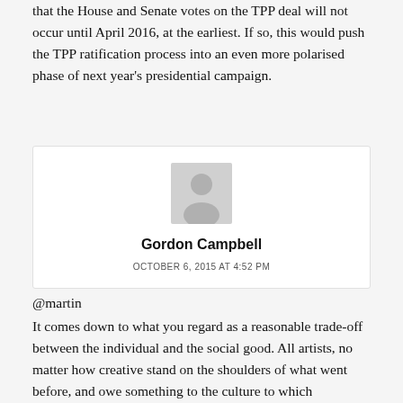that the House and Senate votes on the TPP deal will not occur until April 2016, at the earliest. If so, this would push the TPP ratification process into an even more polarised phase of next year's presidential campaign.
[Figure (other): Generic user avatar placeholder image (grey silhouette of a person on light grey background)]
Gordon Campbell
OCTOBER 6, 2015 AT 4:52 PM
@martin
It comes down to what you regard as a reasonable trade-off between the individual and the social good. All artists, no matter how creative stand on the shoulders of what went before, and owe something to the culture to which they belong. So artistic inputs do not start from the...